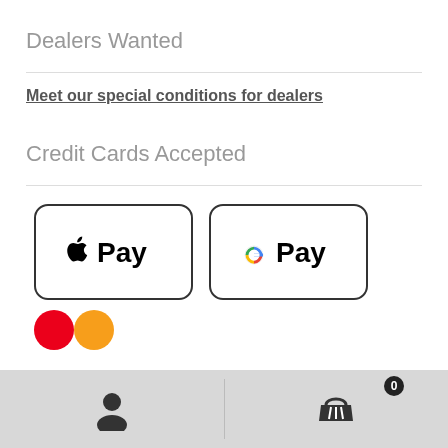Dealers Wanted
Meet our special conditions for dealers
Credit Cards Accepted
[Figure (logo): Apple Pay and Google Pay payment method logos displayed as rounded rectangle badges]
[Figure (logo): Partial view of Mastercard logo at bottom]
User account icon | Shopping cart icon with 0 badge